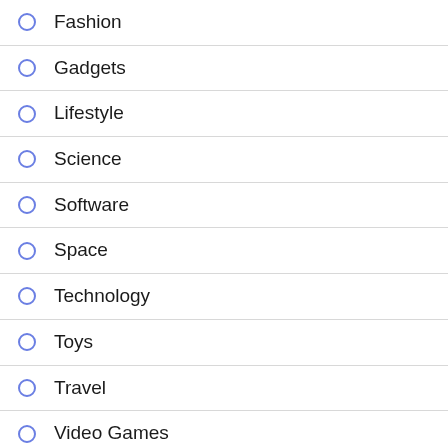Fashion
Gadgets
Lifestyle
Science
Software
Space
Technology
Toys
Travel
Video Games